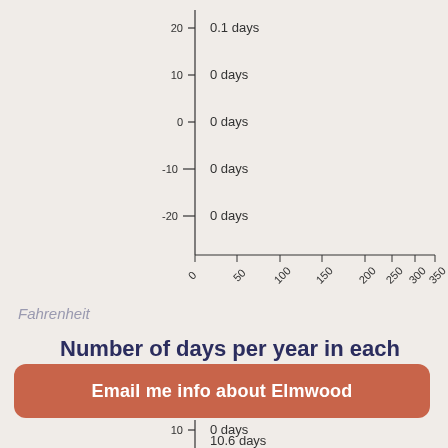[Figure (continuous-plot): Partial scatter/dot chart showing temperature data with y-axis values (20, 10, 0, -10, -20) and x-axis ticks (0, 50, 100, 150, 200, 250, 300, 350). Each row shows corresponding days: 0.1 days, 0 days, 0 days, 0 days, 0 days.]
Fahrenheit
Number of days per year in each humidity range
[Figure (continuous-plot): Partial humidity range chart with y-axis values (10, 20, 30) and day counts: 0 days, 0 days, 0.2 days. Partially cut off at bottom.]
Email me info about Elmwood
10.6 days